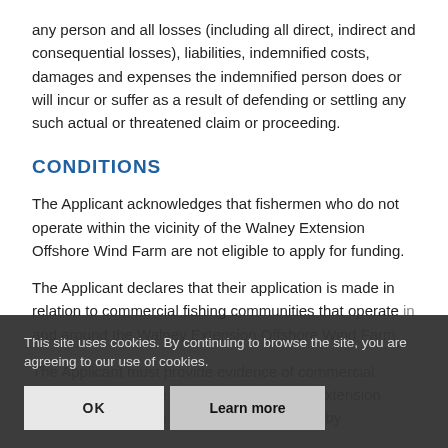any person and all losses (including all direct, indirect and consequential losses), liabilities, indemnified costs, damages and expenses the indemnified person does or will incur or suffer as a result of defending or settling any such actual or threatened claim or proceeding.
CONDITIONS
The Applicant acknowledges that fishermen who do not operate within the vicinity of the Walney Extension Offshore Wind Farm are not eligible to apply for funding.
The Applicant declares that their application is made in relation to commercial fishing communities that operate in and around the Walney Extension Offshore Wind Farm.
The Applicant must provide evidence of commercial fishing activity in the vicinity of the Walney Extension Offshore Wind Farm as WMEL is requested by...
Cookie banner: This site uses cookies. By continuing to browse the site, you are agreeing to our use of cookies. [OK] [Learn more]